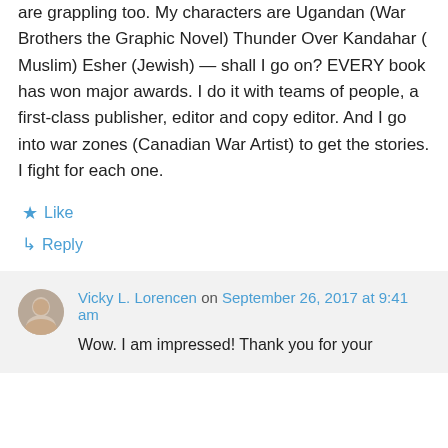are grappling too. My characters are Ugandan (War Brothers the Graphic Novel) Thunder Over Kandahar ( Muslim) Esher (Jewish) — shall I go on? EVERY book has won major awards. I do it with teams of people, a first-class publisher, editor and copy editor. And I go into war zones (Canadian War Artist) to get the stories. I fight for each one.
★ Like
↪ Reply
Vicky L. Lorencen on September 26, 2017 at 9:41 am
Wow. I am impressed! Thank you for your